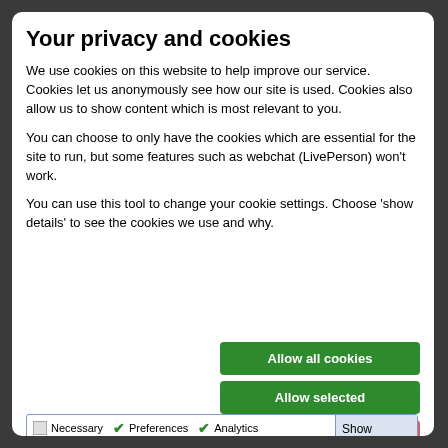Your privacy and cookies
We use cookies on this website to help improve our service. Cookies let us anonymously see how our site is used. Cookies also allow us to show content which is most relevant to you.
You can choose to only have the cookies which are essential for the site to run, but some features such as webchat (LivePerson) won't work.
You can use this tool to change your cookie settings. Choose 'show details' to see the cookies we use and why.
[Figure (screenshot): Three buttons: 'Allow all cookies' (green), 'Allow selected' (green), 'Use necessary cookies' (red/pink)]
[Figure (screenshot): Cookie consent checkboxes: Necessary (gray checked), Preferences (green checked), Analytics (green checked), Social media and third party (unchecked). Show details dropdown button.]